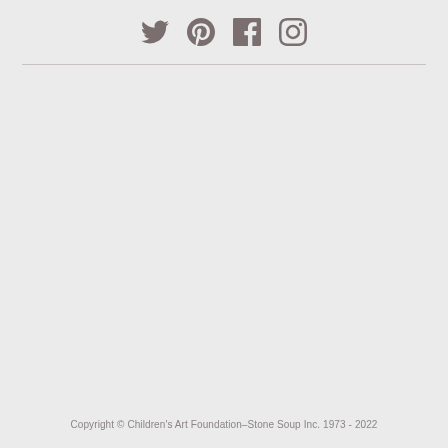[Figure (other): Social media icons: Twitter, Pinterest, Facebook, Instagram]
Copyright © Children's Art Foundation–Stone Soup Inc. 1973 - 2022